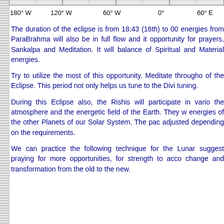[Figure (map): Bottom edge of a world map showing longitude labels: 180° W, 120° W, 60° W, 0°, 60° E]
The duration of the eclipse is from 18:43 (16th) to 00 energies from ParaBrahma will also be in full flow and it opportunity for prayers, Sankalpa and Meditation. It will balance of Spiritual and Material energies.
Try to utilize the most of this opportunity. Meditate througho of the Eclipse. This period not only helps us tune to the Divi tuning.
During this Eclipse also, the Rishis will participate in vario the atmosphere and the energetic field of the Earth. They w energies of the other Planets of our Solar System. The pac adjusted depending on the requirements.
We can practice the following technique for the Lunar suggest praying for more opportunities, for strength to acco change and transformation from the old to the new.